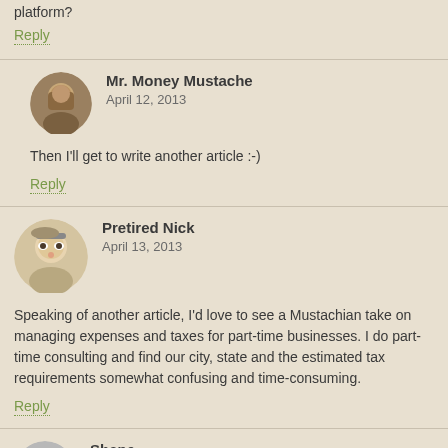platform?
Reply
Mr. Money Mustache
April 12, 2013
Then I'll get to write another article :-)
Reply
Pretired Nick
April 13, 2013
Speaking of another article, I'd love to see a Mustachian take on managing expenses and taxes for part-time businesses. I do part-time consulting and find our city, state and the estimated tax requirements somewhat confusing and time-consuming.
Reply
Shane
April 12, 2013